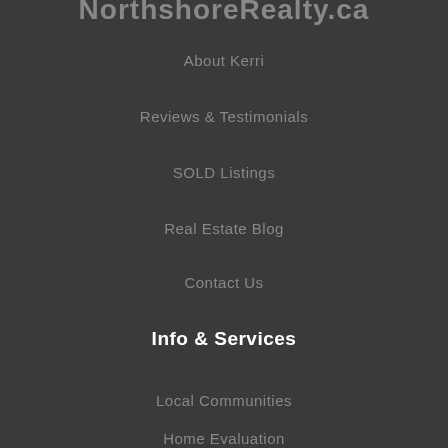NorthshoreRealty.ca
About Kerri
Reviews & Testimonials
SOLD Listings
Real Estate Blog
Contact Us
Info & Services
Local Communities
Home Evaluation